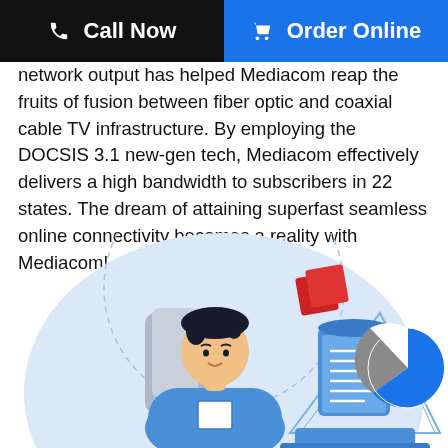Call Now | Order Online
network output has helped Mediacom reap the fruits of fusion between fiber optic and coaxial cable TV infrastructure. By employing the DOCSIS 3.1 new-gen tech, Mediacom effectively delivers a high bandwidth to subscribers in 22 states. The dream of attaining superfast seamless online connectivity becomes a reality with Mediacom!
[Figure (illustration): Illustration of a man in a blue shirt sitting at a desk, with a document scroll, pie chart, and floating interface elements around him on a light blue circular background.]